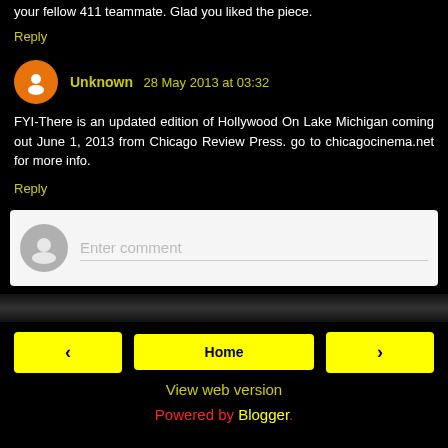your fellow 411 teammate. Glad you liked the piece.
Reply
Unknown 28 May 2013 at 03:32
FYI-There is an updated edition of Hollywood On Lake Michigan coming out June 1, 2013 from Chicago Review Press. go to chicagocinema.net for more info.
Reply
Enter comment
Home | View web version | Powered by Blogger.